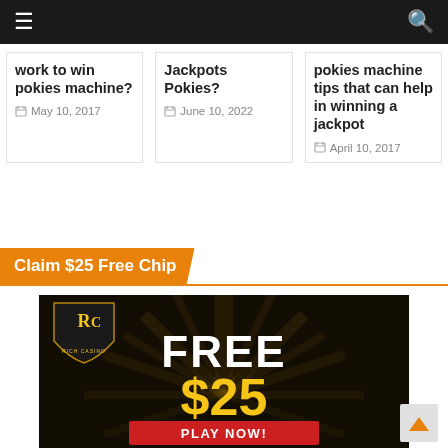Navigation bar with hamburger menu and search icon
work to win pokies machine?
May 10, 2017
Jackpots Pokies?
June 10, 2022
pokies machine tips that can help in winning a jackpot
April 10, 2017
Claim $25 Free Chip
[Figure (photo): Rich Casino advertisement banner with logo, FREE $25 text in white and yellow, and a red PLAY NOW button on dark background with golden rays]